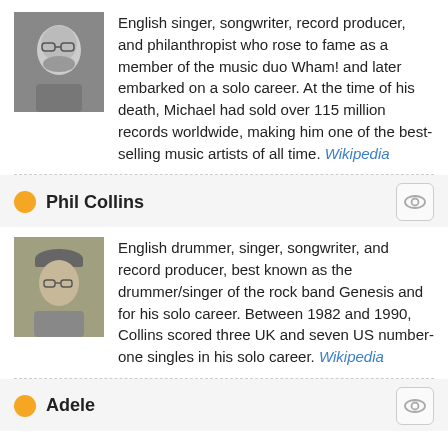[Figure (photo): Black and white headshot photo of a man with glasses and beard]
English singer, songwriter, record producer, and philanthropist who rose to fame as a member of the music duo Wham! and later embarked on a solo career. At the time of his death, Michael had sold over 115 million records worldwide, making him one of the best-selling music artists of all time. Wikipedia
Phil Collins
[Figure (photo): Color headshot photo of a man wearing a cap and glasses]
English drummer, singer, songwriter, and record producer, best known as the drummer/singer of the rock band Genesis and for his solo career. Between 1982 and 1990, Collins scored three UK and seven US number-one singles in his solo career. Wikipedia
Adele